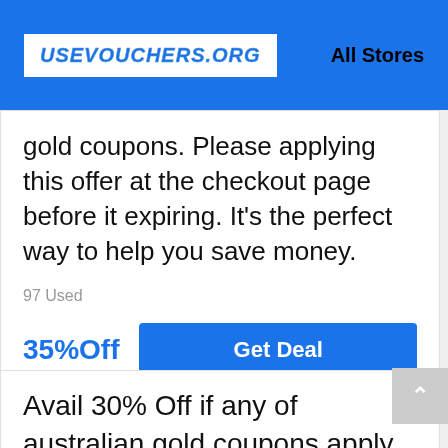USEVOUCHERS.ORG   All Stores
gold coupons. Please applying this offer at the checkout page before it expiring. It's the perfect way to help you save money.
97 Used
35%Off
Get Deal
Avail 30% Off if any of australian gold coupons apply to your purchase